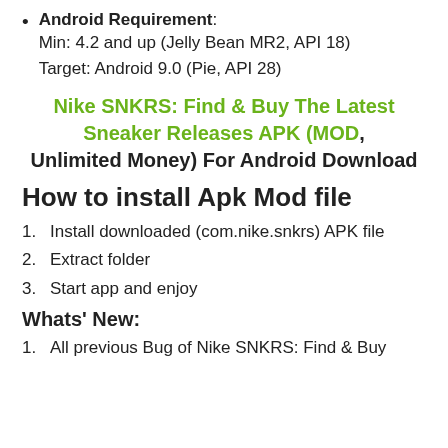Android Requirement: Min: 4.2 and up (Jelly Bean MR2, API 18) Target: Android 9.0 (Pie, API 28)
Nike SNKRS: Find & Buy The Latest Sneaker Releases APK (MOD, Unlimited Money) For Android Download
How to install Apk Mod file
1. Install downloaded (com.nike.snkrs) APK file
2. Extract folder
3. Start app and enjoy
Whats' New:
1. All previous Bug of Nike SNKRS: Find & Buy